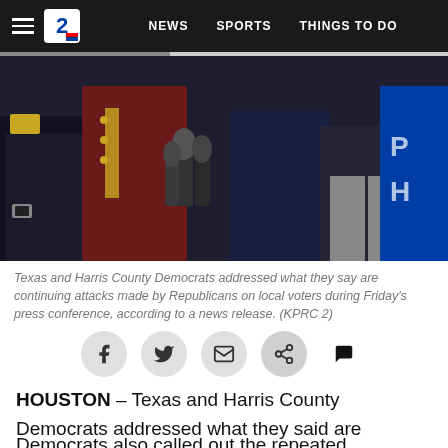NEWS | SPORTS | THINGS TO DO
[Figure (photo): Texas and Harris County Democrats at a press conference, standing at microphones in front of a blue backdrop.]
Texas and Harris County Democrats addressed what they say are continuing attacks made by Republicans on local voters during Friday's press conference, according to a news release. (KPRC 2)
HOUSTON – Texas and Harris County Democrats addressed what they said are continuing attacks made by Republicans on local voters during Friday's press conference, according to a news release.
Democrats also called out the repeated accusations made